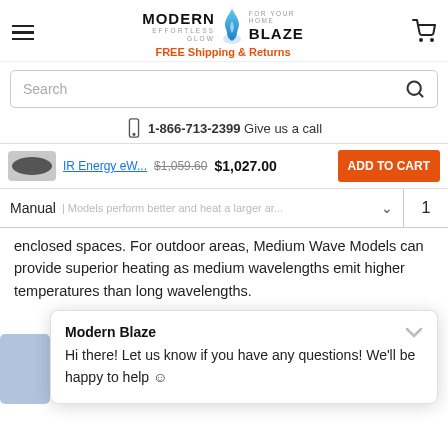[Figure (logo): Modern Blaze logo with flame icon and FREE Shipping & Returns tagline]
Search
1-866-713-2399 Give us a call
IR Energy eW... $1,059.60 $1,027.00 ADD TO CART
Manual | Models perform better and heat a larger ar...
enclosed spaces. For outdoor areas, Medium Wave Models can provide superior heating as medium wavelengths emit higher temperatures than long wavelengths.
Modern Blaze
Hi there! Let us know if you have any questions! We'll be happy to help ☺